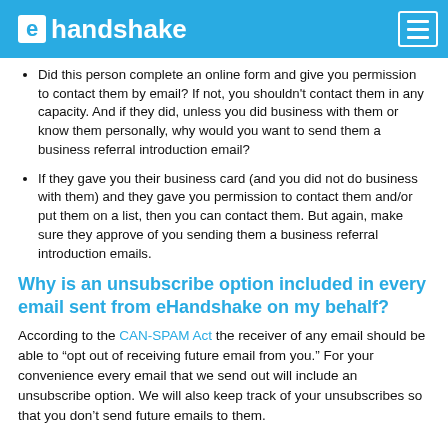ehandshake
Did this person complete an online form and give you permission to contact them by email? If not, you shouldn't contact them in any capacity. And if they did, unless you did business with them or know them personally, why would you want to send them a business referral introduction email?
If they gave you their business card (and you did not do business with them) and they gave you permission to contact them and/or put them on a list, then you can contact them. But again, make sure they approve of you sending them a business referral introduction emails.
Why is an unsubscribe option included in every email sent from eHandshake on my behalf?
According to the CAN-SPAM Act the receiver of any email should be able to “opt out of receiving future email from you.” For your convenience every email that we send out will include an unsubscribe option. We will also keep track of your unsubscribes so that you don’t send future emails to them.